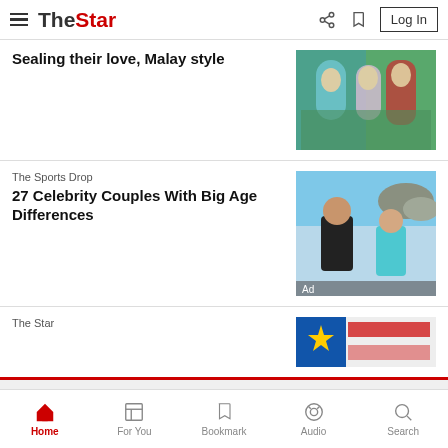The Star — navigation bar with hamburger menu, share, bookmark, and Log In button
Sealing their love, Malay style
[Figure (photo): Group photo of people in traditional Malay wedding attire, colorful outfits]
The Sports Drop
27 Celebrity Couples With Big Age Differences
[Figure (photo): Man in black t-shirt and woman in teal top walking near a beach, labeled Ad]
The Star
[Figure (photo): Partial image showing Malaysian flag and other content]
Read unlimited content without ads.  More info on our Premium Plan.  >
Home | For You | Bookmark | Audio | Search